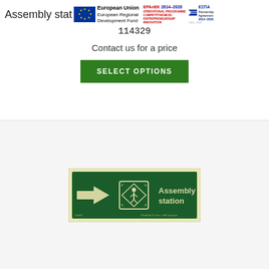Assembly stat | European Union European Regional Development Fund | EPAnEK 2014-2020 OPERATIONAL PROGRAMME COMPETITIVENESS ENTREPRENEURSHIP INNOVATION | ΕΣΠΑ Partnership Agreement 2014-2020
114329
Contact us for a price
SELECT OPTIONS
[Figure (photo): Assembly station safety sign: green background, white arrow pointing left, assembly station icon with people figures in diamond shape, white text reading 'Assembly station']